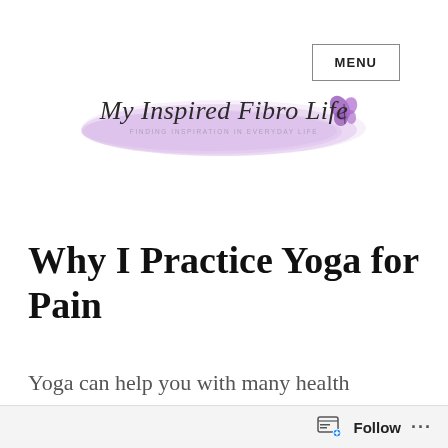MENU
[Figure (logo): My Inspired Fibro Life blog logo with purple watercolor brush stroke background and butterfly, tagline FINDING INSPIRATION IN EVERYDAY LIFE]
Why I Practice Yoga for Pain
Yoga can help you with many health conditions, including stress, anxiety,
Follow ...